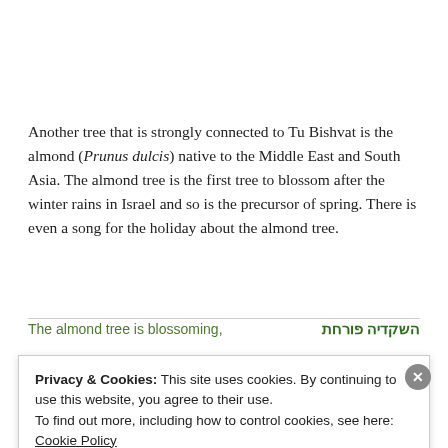Another tree that is strongly connected to Tu Bishvat is the almond (Prunus dulcis) native to the Middle East and South Asia. The almond tree is the first tree to blossom after the winter rains in Israel and so is the precursor of spring. There is even a song for the holiday about the almond tree.
The almond tree is blossoming,   השקדיה פורחת
Privacy & Cookies: This site uses cookies. By continuing to use this website, you agree to their use. To find out more, including how to control cookies, see here: Cookie Policy
Close and accept